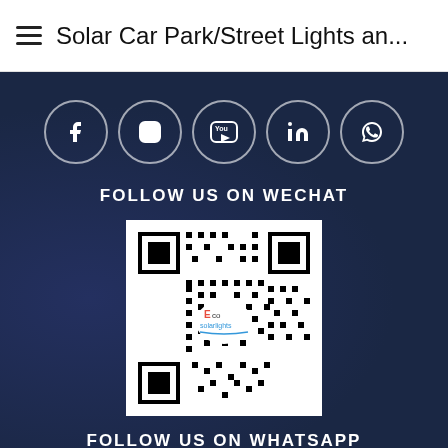Solar Car Park/Street Lights an...
[Figure (infographic): Row of 5 social media icon circles: Facebook, Instagram, YouTube, LinkedIn, WhatsApp — white outlines on dark blue background]
FOLLOW US ON WECHAT
[Figure (other): WeChat QR code with Eco solar lights logo in the center]
FOLLOW US ON WHATSAPP
[Figure (other): Partially visible WhatsApp QR code at bottom of page, with 'WhatsApp' text visible]